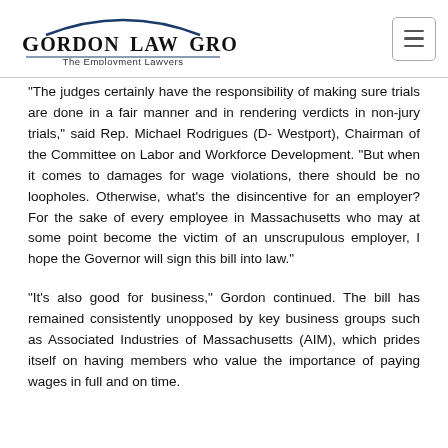Gordon Law Group — The Employment Lawyers
“The judges certainly have the responsibility of making sure trials are done in a fair manner and in rendering verdicts in non-jury trials,” said Rep. Michael Rodrigues (D- Westport), Chairman of the Committee on Labor and Workforce Development. “But when it comes to damages for wage violations, there should be no loopholes. Otherwise, what’s the disincentive for an employer? For the sake of every employee in Massachusetts who may at some point become the victim of an unscrupulous employer, I hope the Governor will sign this bill into law.”
“It’s also good for business,” Gordon continued. The bill has remained consistently unopposed by key business groups such as Associated Industries of Massachusetts (AIM), which prides itself on having members who value the importance of paying wages in full and on time.